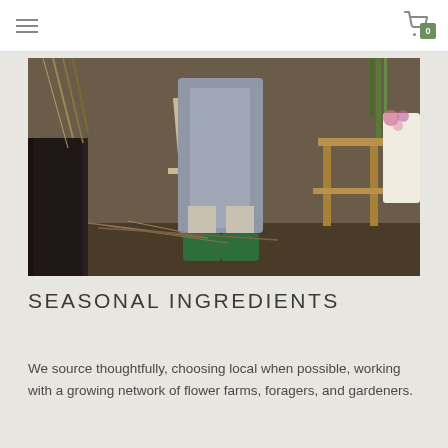Navigation menu and shopping cart (0 items)
[Figure (photo): A person in a grey apron and green boots standing in a flower shop surrounded by dried grasses, wooden furniture, and floral materials]
SEASONAL INGREDIENTS
We source thoughtfully, choosing local when possible, working with a growing network of flower farms, foragers, and gardeners.